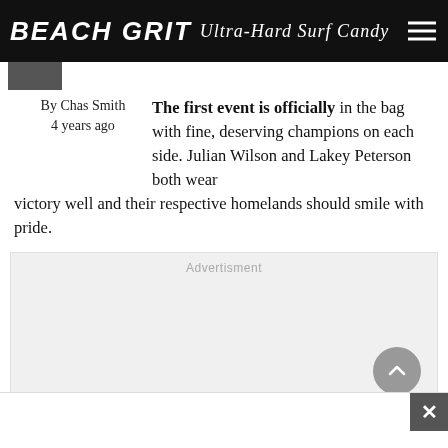BEACH GRIT Ultra-Hard Surf Candy
[Figure (photo): Small thumbnail image partially visible at top left]
By Chas Smith
4 years ago
The first event is officially in the bag with fine, deserving champions on each side. Julian Wilson and Lakey Peterson both wear victory well and their respective homelands should smile with pride.
Advertisment